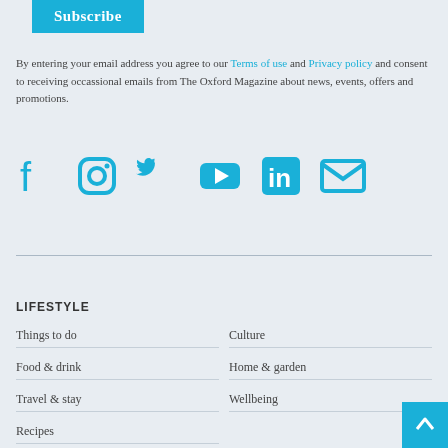Subscribe
By entering your email address you agree to our Terms of use and Privacy policy and consent to receiving occassional emails from The Oxford Magazine about news, events, offers and promotions.
[Figure (infographic): Social media icons row: Facebook, Instagram, Twitter, YouTube, LinkedIn, Email — all in cyan/blue color]
LIFESTYLE
Things to do
Culture
Food & drink
Home & garden
Travel & stay
Wellbeing
Recipes